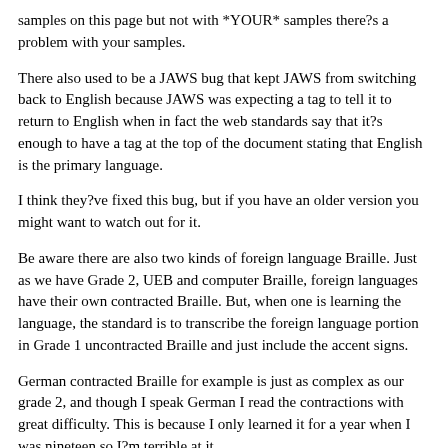samples on this page but not with *YOUR* samples there?s a problem with your samples.
There also used to be a JAWS bug that kept JAWS from switching back to English because JAWS was expecting a tag to tell it to return to English when in fact the web standards say that it?s enough to have a tag at the top of the document stating that English is the primary language.
I think they?ve fixed this bug, but if you have an older version you might want to watch out for it.
Be aware there are also two kinds of foreign language Braille. Just as we have Grade 2, UEB and computer Braille, foreign languages have their own contracted Braille. But, when one is learning the language, the standard is to transcribe the foreign language portion in Grade 1 uncontracted Braille and just include the accent signs.
German contracted Braille for example is just as complex as our grade 2, and though I speak German I read the contractions with great difficulty. This is because I only learned it for a year when I was nineteen so I?m terrible at it.
But reading German by setting my display to use the computer Braille table is easy for me because it is just the alphabet and the